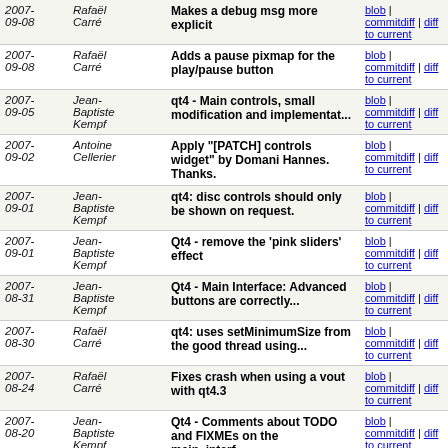| Date | Author | Commit message | Links |
| --- | --- | --- | --- |
| 2007-09-08 | Rafaël Carré | Makes a debug msg more explicit | blob | commitdiff | diff to current |
| 2007-09-08 | Rafaël Carré | Adds a pause pixmap for the play/pause button | blob | commitdiff | diff to current |
| 2007-09-05 | Jean-Baptiste Kempf | qt4 - Main controls, small modification and implementat... | blob | commitdiff | diff to current |
| 2007-09-02 | Antoine Cellerier | Apply "[PATCH] controls widget" by Domani Hannes. Thanks. | blob | commitdiff | diff to current |
| 2007-09-01 | Jean-Baptiste Kempf | qt4: disc controls should only be shown on request. | blob | commitdiff | diff to current |
| 2007-09-01 | Jean-Baptiste Kempf | Qt4 - remove the 'pink sliders' effect | blob | commitdiff | diff to current |
| 2007-08-31 | Jean-Baptiste Kempf | Qt4 - Main Interface: Advanced buttons are correctly... | blob | commitdiff | diff to current |
| 2007-08-30 | Rafaël Carré | qt4: uses setMinimumSize from the good thread using... | blob | commitdiff | diff to current |
| 2007-08-24 | Rafaël Carré | Fixes crash when using a vout with qt4.3 | blob | commitdiff | diff to current |
| 2007-08-20 | Jean-Baptiste Kempf | Qt4 - Comments about TODO and FIXMEs on the main_interf... | blob | commitdiff | diff to current |
| 2007-08-20 | Jean-Baptiste | Qt4 : buttons size and various fixes. Remove dead code... | blob | commitdiff | diff to current |